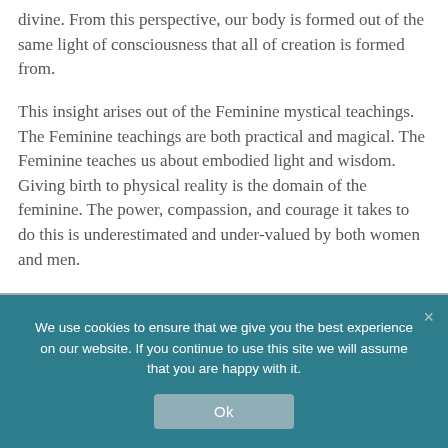divine. From this perspective, our body is formed out of the same light of consciousness that all of creation is formed from.
This insight arises out of the Feminine mystical teachings. The Feminine teachings are both practical and magical. The Feminine teaches us about embodied light and wisdom. Giving birth to physical reality is the domain of the feminine. The power, compassion, and courage it takes to do this is underestimated and under-valued by both women and men.
We use cookies to ensure that we give you the best experience on our website. If you continue to use this site we will assume that you are happy with it.